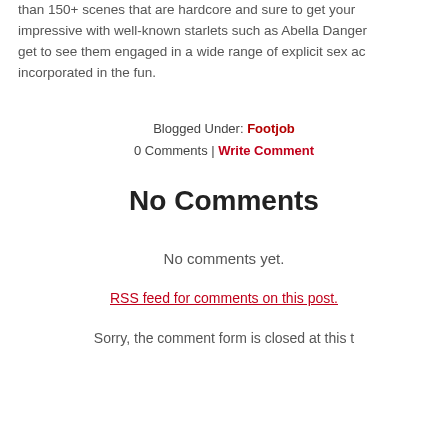than 150+ scenes that are hardcore and sure to get your impressive with well-known starlets such as Abella Danger get to see them engaged in a wide range of explicit sex ac incorporated in the fun.
Blogged Under: Footjob
0 Comments | Write Comment
No Comments
No comments yet.
RSS feed for comments on this post.
Sorry, the comment form is closed at this t